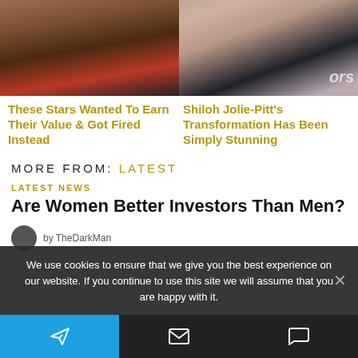[Figure (photo): Close-up face photo of a man, lower half of face visible, dark background with red accent clothing]
[Figure (photo): Close-up face photo of a young woman with dark hair, light makeup, partial 'ors' text visible at right]
These Stars Wanted To Earn Their Value & Got Fired Instead
Shiloh Jolie-Pitt's Transformation Has Been Simply Stunning
MORE FROM: LATEST
LATEST NEWS
Are Women Better Investors Than Men?
by TheDarkMan
We use cookies to ensure that we give you the best experience on our website. If you continue to use this site we will assume that you are happy with it.